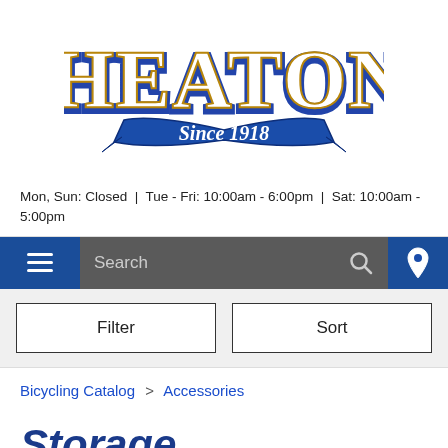[Figure (logo): Wheaton's bicycle shop logo with 'Since 1918' banner in blue and yellow/gold lettering]
Mon, Sun: Closed | Tue - Fri: 10:00am - 6:00pm | Sat: 10:00am - 5:00pm
[Figure (screenshot): Navigation bar with hamburger menu, search box, and location pin icon]
[Figure (screenshot): Filter and Sort buttons]
Bicycling Catalog > Accessories
Storage